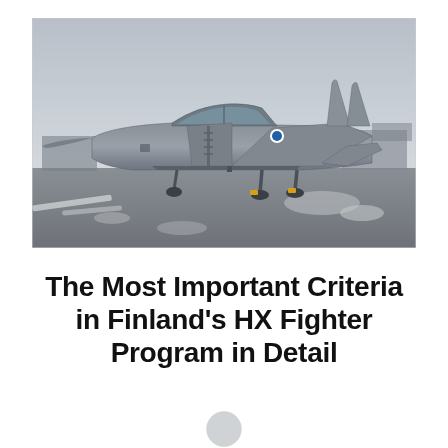[Figure (photo): A military fighter jet (Finnish Air Force F/A-18 Hornet) parked on a wet tarmac/runway, photographed from the side. The sky is overcast and grey. There are patches of snow on the ground. The aircraft is grey with Finnish Air Force markings visible.]
The Most Important Criteria in Finland's HX Fighter Program in Detail